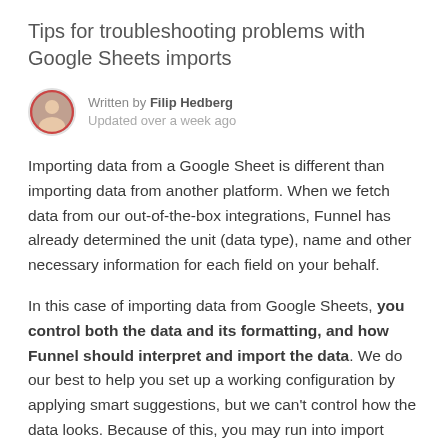Tips for troubleshooting problems with Google Sheets imports
Written by Filip Hedberg
Updated over a week ago
Importing data from a Google Sheet is different than importing data from another platform. When we fetch data from our out-of-the-box integrations, Funnel has already determined the unit (data type), name and other necessary information for each field on your behalf.
In this case of importing data from Google Sheets, you control both the data and its formatting, and how Funnel should interpret and import the data. We do our best to help you set up a working configuration by applying smart suggestions, but we can't control how the data looks. Because of this, you may run into import errors when Funnel is unable to successfully parse the data for your current configuration.